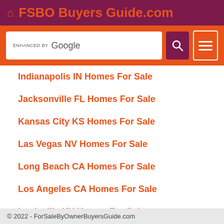FSBO Buyers Guide.com
[Figure (screenshot): Search bar with ENHANCED BY Google text and purple search button, plus hamburger menu button on orange background]
Indianapolis IN Homes For Sale
Jacksonville FL Homes For Sale
Kansas City KS Homes For Sale
Las Vegas NV Homes For Sale
Long Beach CA Homes For Sale
Los Angeles CA Homes For Sale
Louisville KY Homes For Sale
Memphis TN Homes For Sale
© 2022 - ForSaleByOwnerBuyersGuide.com